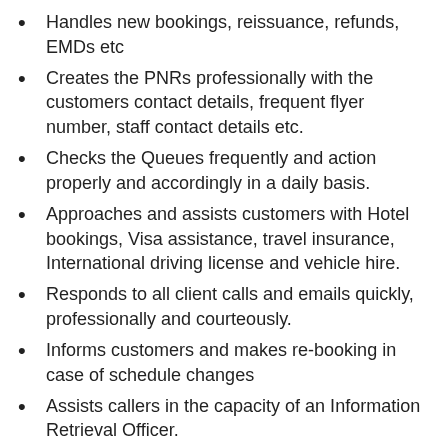Handles new bookings, reissuance, refunds, EMDs etc
Creates the PNRs professionally with the customers contact details, frequent flyer number, staff contact details etc.
Checks the Queues frequently and action properly and accordingly in a daily basis.
Approaches and assists customers with Hotel bookings, Visa assistance, travel insurance, International driving license and vehicle hire.
Responds to all client calls and emails quickly, professionally and courteously.
Informs customers and makes re-booking in case of schedule changes
Assists callers in the capacity of an Information Retrieval Officer.
Attends to client's request/query without